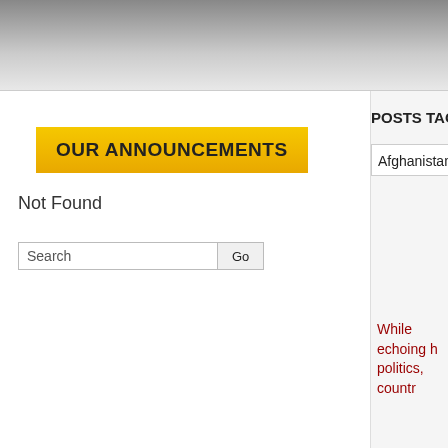OUR ANNOUNCEMENTS
Not Found
Search  Go
POSTS TAGGED
Afghanistan: In
While echoing h politics, countr